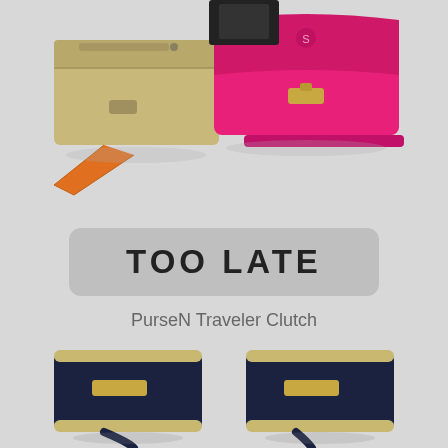[Figure (photo): Two clutch handbags photographed together: a champagne/gold metallic clutch on the left with an orange strap, and a bright pink/fuchsia clutch on the right with a gold clasp closure]
TOO LATE
PurseN Traveler Clutch
[Figure (photo): Two navy blue rectangular crossbody/wristlet bags with cream/gold zippers and gold hardware label plates, shown side by side with straps visible]